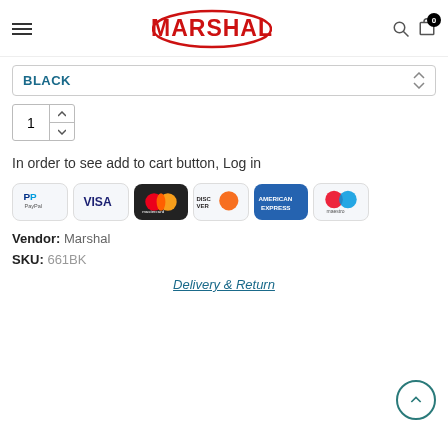[Figure (logo): Marshal brand logo in red with oval border, hamburger menu icon on left, search and cart icons on right]
BLACK
1
In order to see add to cart button, Log in
[Figure (infographic): Payment method icons: PayPal, Visa, Mastercard, Discover, American Express, Maestro]
Vendor: Marshal
SKU: 661BK
Delivery & Return